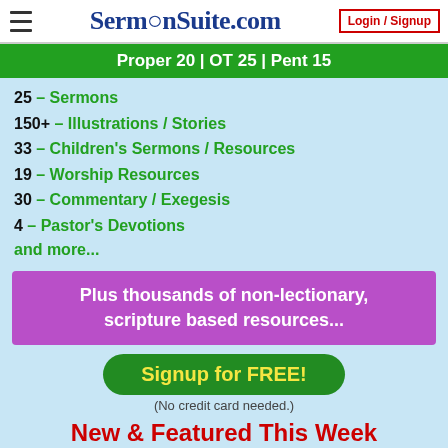SermonSuite.com  Login / Signup
Proper 20 | OT 25 | Pent 15
25 – Sermons
150+ – Illustrations / Stories
33 – Children's Sermons / Resources
19 – Worship Resources
30 – Commentary / Exegesis
4 – Pastor's Devotions
and more...
Plus thousands of non-lectionary, scripture based resources...
Signup for FREE!
(No credit card needed.)
New & Featured This Week
CSSPlus